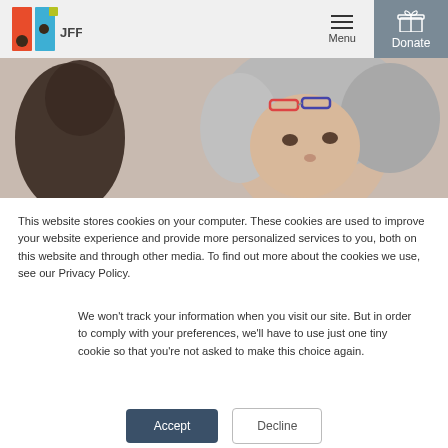JFF | Menu | Donate
[Figure (photo): Close-up photo of a middle-aged woman with long grey hair and glasses on her head, looking forward. Partial silhouette of another person in the foreground.]
This website stores cookies on your computer. These cookies are used to improve your website experience and provide more personalized services to you, both on this website and through other media. To find out more about the cookies we use, see our Privacy Policy.
We won't track your information when you visit our site. But in order to comply with your preferences, we'll have to use just one tiny cookie so that you're not asked to make this choice again.
Accept | Decline